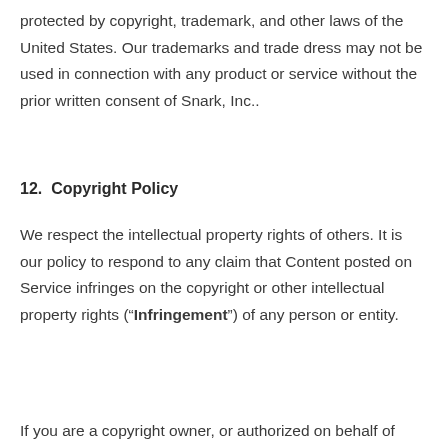protected by copyright, trademark, and other laws of the United States. Our trademarks and trade dress may not be used in connection with any product or service without the prior written consent of Snark, Inc..
12.  Copyright Policy
We respect the intellectual property rights of others. It is our policy to respond to any claim that Content posted on Service infringes on the copyright or other intellectual property rights (“Infringement”) of any person or entity.
If you are a copyright owner, or authorized on behalf of one,